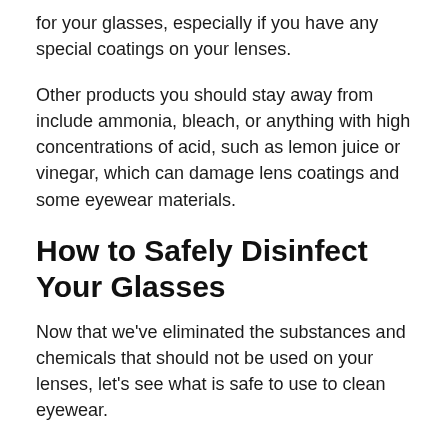for your glasses, especially if you have any special coatings on your lenses.
Other products you should stay away from include ammonia, bleach, or anything with high concentrations of acid, such as lemon juice or vinegar, which can damage lens coatings and some eyewear materials.
How to Safely Disinfect Your Glasses
Now that we've eliminated the substances and chemicals that should not be used on your lenses, let's see what is safe to use to clean eyewear.
Dish Soap and Water